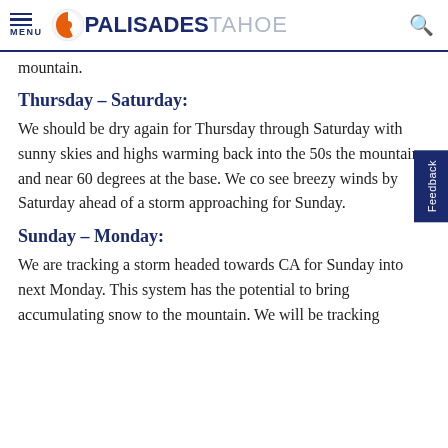MENU | PALISADES TAHOE
mountain.
Thursday – Saturday:
We should be dry again for Thursday through Saturday with sunny skies and highs warming back into the 50s the mountain, and near 60 degrees at the base. We could see breezy winds by Saturday ahead of a storm approaching for Sunday.
Sunday – Monday:
We are tracking a storm headed towards CA for Sunday into next Monday. This system has the potential to bring accumulating snow to the mountain. We will be tracking